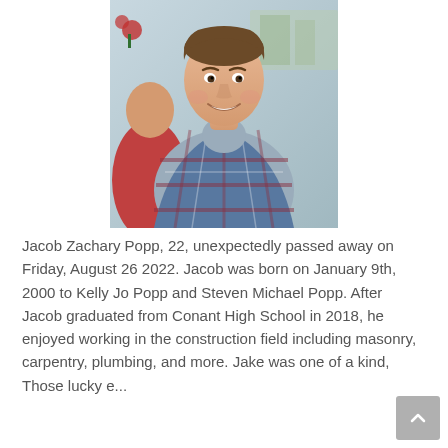[Figure (photo): Portrait photo of a young smiling man wearing a plaid blue/red flannel shirt over a grey shirt, photographed indoors with a cheerful expression.]
Jacob Zachary Popp, 22, unexpectedly passed away on Friday, August 26 2022. Jacob was born on January 9th, 2000 to Kelly Jo Popp and Steven Michael Popp. After Jacob graduated from Conant High School in 2018, he enjoyed working in the construction field including masonry, carpentry, plumbing, and more. Jake was one of a kind, Those lucky e...